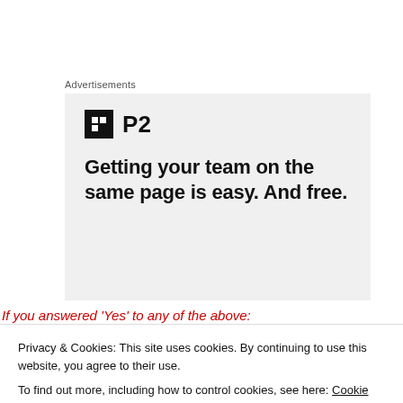Advertisements
[Figure (other): P2 advertisement: logo with stylized H icon and 'P2' text, tagline 'Getting your team on the same page is easy. And free.']
If you answered 'Yes' to any of the above:
Privacy & Cookies: This site uses cookies. By continuing to use this website, you agree to their use.
To find out more, including how to control cookies, see here: Cookie Policy
black gospel singer. If you said yes to the fourth one, you